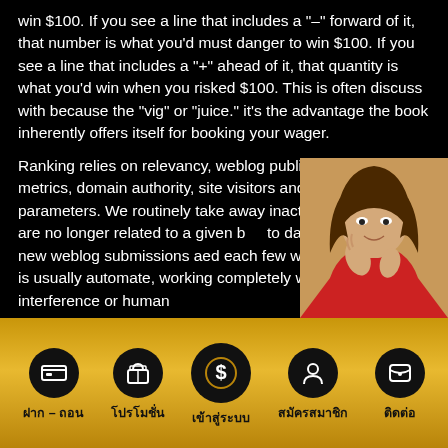win $100. If you see a line that includes a "-" forward of it, that number is what you'd must danger to win $100. If you see a line that includes a "+" ahead of it, that quantity is what you'd win when you risked $100. This is often discuss with because the "vig" or "juice." it's the advantage the book inherently offers itself for booking your wager.
Ranking relies on relevancy, weblog publish frequency, social metrics, domain authority, site visitors and many different parameters. We routinely take away inactive blogs, those that are no longer related to a given blog, up to date as we receive new weblog submissions and re-ranked each few weeks. The system is usually automate, working completely with out human interference or human
[Figure (photo): A young woman in a red outfit posing with hands near face, partially overlapping the text]
[Figure (infographic): Golden footer navigation bar with 5 black circular icons and Thai labels: ฝาก-ถอน (deposit-withdraw), โปรโมชั่น (promotion), เข้าสู่ระบบ (login - large center icon with dollar sign), สมัครสมาชิก (register), ติดต่อ (contact)]